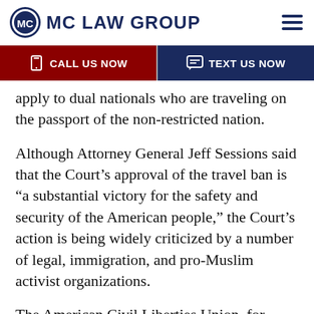MC LAW GROUP
apply to dual nationals who are traveling on the passport of the non-restricted nation.
Although Attorney General Jeff Sessions said that the Court’s approval of the travel ban is “a substantial victory for the safety and security of the American people,” the Court’s action is being widely criticized by a number of legal, immigration, and pro-Muslim activist organizations.
The American Civil Liberties Union, for